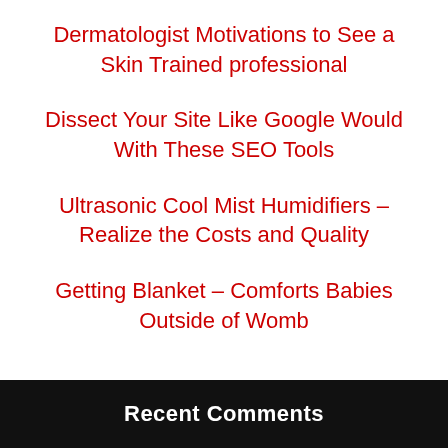Dermatologist Motivations to See a Skin Trained professional
Dissect Your Site Like Google Would With These SEO Tools
Ultrasonic Cool Mist Humidifiers – Realize the Costs and Quality
Getting Blanket – Comforts Babies Outside of Womb
Recent Comments